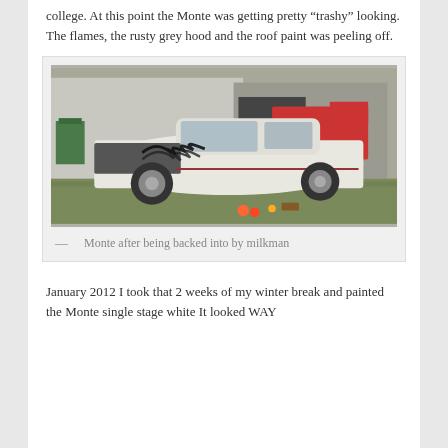college. At this point the Monte was getting pretty “trashy” looking. The flames, the rusty grey hood and the roof paint was peeling off.
[Figure (photo): Photo of a white car with flame graphics on the hood, parked in a grassy area next to a barn/shed. A red truck is visible in the background. The car's front hood is crumpled/damaged.]
—   Monte after being backed into by milkman
January 2012 I took that 2 weeks of my winter break and painted the Monte single stage white It looked WAY